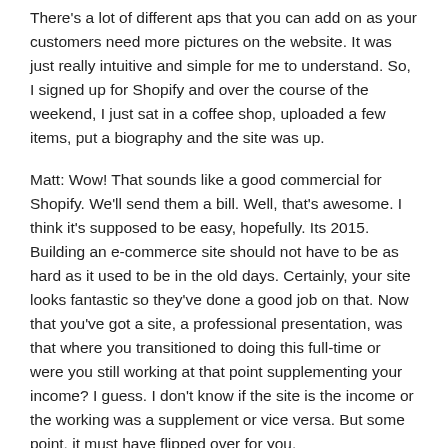There's a lot of different aps that you can add on as your customers need more pictures on the website. It was just really intuitive and simple for me to understand. So, I signed up for Shopify and over the course of the weekend, I just sat in a coffee shop, uploaded a few items, put a biography and the site was up.
Matt: Wow! That sounds like a good commercial for Shopify. We'll send them a bill. Well, that's awesome. I think it's supposed to be easy, hopefully. Its 2015. Building an e-commerce site should not have to be as hard as it used to be in the old days. Certainly, your site looks fantastic so they've done a good job on that. Now that you've got a site, a professional presentation, was that where you transitioned to doing this full-time or were you still working at that point supplementing your income? I guess. I don't know if the site is the income or the working was a supplement or vice versa. But some point, it must have flipped over for you.